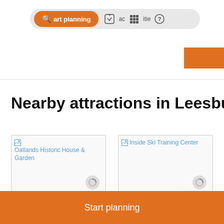Start planning   activities
Nearby attractions in Leesburg
[Figure (screenshot): Broken image placeholder for Oatlands Historic House & Garden attraction card showing image alt text in blue]
SCENIC WALKING AREA
Oatlands Historic House
[Figure (screenshot): Broken image placeholder for Inside Ski Training Center attraction card showing image alt text in blue]
SPORTS CLINIC
Inside Ski Training Center
Start planning